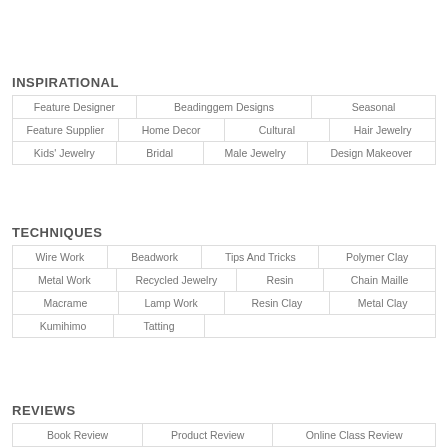INSPIRATIONAL
Feature Designer
Beadinggem Designs
Seasonal
Feature Supplier
Home Decor
Cultural
Hair Jewelry
Kids' Jewelry
Bridal
Male Jewelry
Design Makeover
TECHNIQUES
Wire Work
Beadwork
Tips And Tricks
Polymer Clay
Metal Work
Recycled Jewelry
Resin
Chain Maille
Macrame
Lamp Work
Resin Clay
Metal Clay
Kumihimo
Tatting
REVIEWS
Book Review
Product Review
Online Class Review